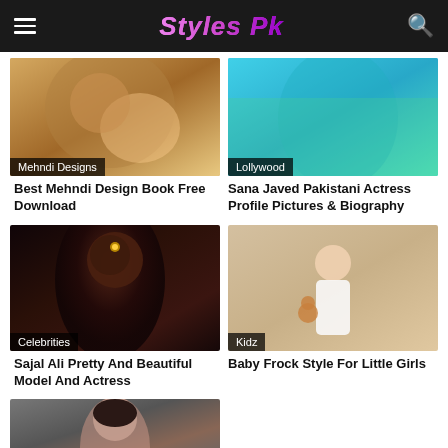Styles Pk
[Figure (photo): Mehndi design close-up photo with category badge 'Mehndi Designs']
[Figure (photo): Lollywood actress photo with category badge 'Lollywood']
Best Mehndi Design Book Free Download
Sana Javed Pakistani Actress Profile Pictures & Biography
[Figure (photo): Sajal Ali portrait with jewelry, category badge 'Celebrities']
[Figure (photo): Little girl in white dress holding teddy bear, category badge 'Kidz']
Sajal Ali Pretty And Beautiful Model And Actress
Baby Frock Style For Little Girls
[Figure (photo): Pakistani actress portrait photo, partially visible at bottom]